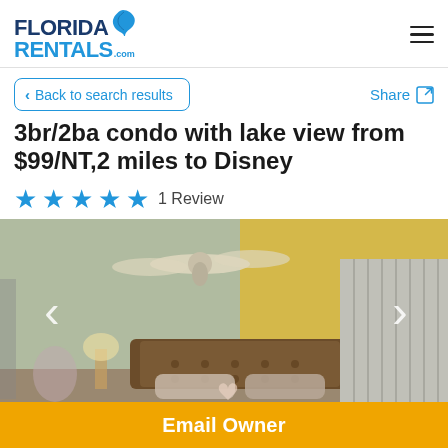Florida Rentals .com
Back to search results
Share
3br/2ba condo with lake view from $99/NT,2 miles to Disney
★★★★★ 1 Review
[Figure (photo): Interior bedroom photo of condo showing ceiling fan, tufted headboard bed, lamp, and closet with vertical blinds]
Email Owner